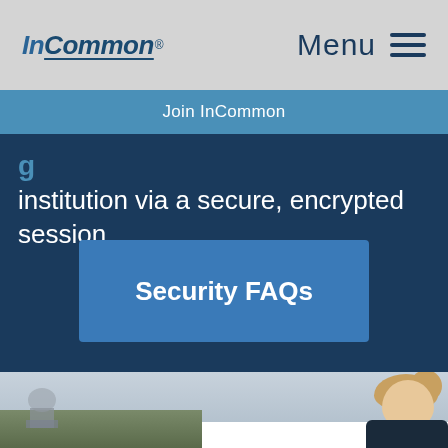InCommon® Menu
Join InCommon
g institution via a secure, encrypted session.
Security FAQs
[Figure (photo): Photo of a young blonde woman looking down, with a blurred cityscape and sky in the background]